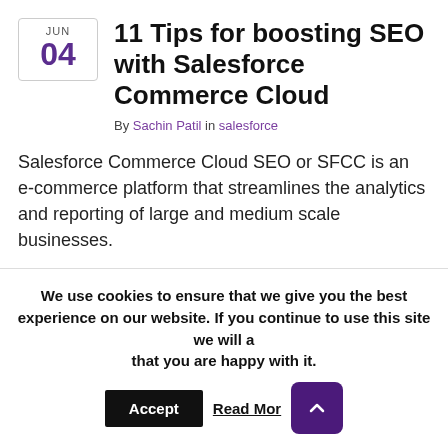11 Tips for boosting SEO with Salesforce Commerce Cloud
By Sachin Patil in salesforce
Salesforce Commerce Cloud SEO or SFCC is an e-commerce platform that streamlines the analytics and reporting of large and medium scale businesses.
The main aim of SFCC is to generate new clicks for online businesses by ranking them on the top of search engines. Thus, with SFCC, you can grow the ranking of your business and get noticed by customers online.
On average, 40% of people who buy things online begin
We use cookies to ensure that we give you the best experience on our website. If you continue to use this site we will assume that you are happy with it.